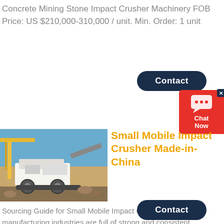Concrete Mining Stone Impact Crusher Machinery FOB Price: US $210,000-310,000 / unit. Min. Order: 1 unit
[Figure (illustration): Dark navy blue 'Contact' button (rounded rectangle)]
[Figure (illustration): Red chat widget with speech bubble icon and 'Chat Now' text, with close X button]
[Figure (photo): Photo of a mobile impact crusher machine on a construction/mining site with blue sky background]
Small Mobile Impact Crusher Made-in-China
Sourcing Guide for Small Mobile Impact Crusher: China manufacturing industries are full of strong and consistent exporters. We are here to bring together China factories that supp
[Figure (illustration): Dark navy blue 'Contact' button (rounded rectangle) at bottom]